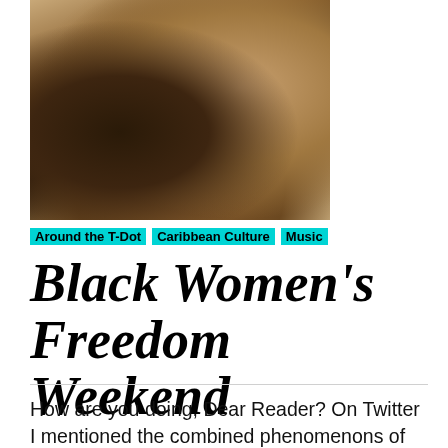[Figure (photo): Close-up photo of a person with natural hair, hands near face/neck, warm tones]
Around the T-Dot   Caribbean Culture   Music
Black Women's Freedom Weekend
How are you doing, Dear Reader? On Twitter I mentioned the combined phenomenons of Beyoncé dropping Renaissance, and this past weekend's Caribana parade. The blissful...